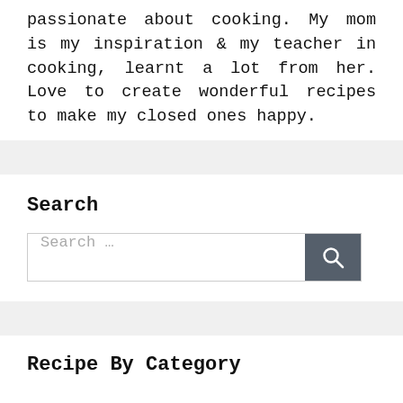passionate about cooking. My mom is my inspiration & my teacher in cooking, learnt a lot from her. Love to create wonderful recipes to make my closed ones happy.
Search
[Figure (other): Search bar with text input placeholder 'Search ...' and a dark gray search button with magnifying glass icon]
Recipe By Category